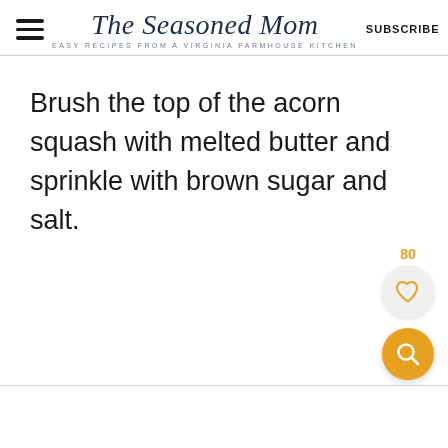The Seasoned Mom — EASY RECIPES FROM A VIRGINIA FARMHOUSE KITCHEN — SUBSCRIBE
Brush the top of the acorn squash with melted butter and sprinkle with brown sugar and salt.